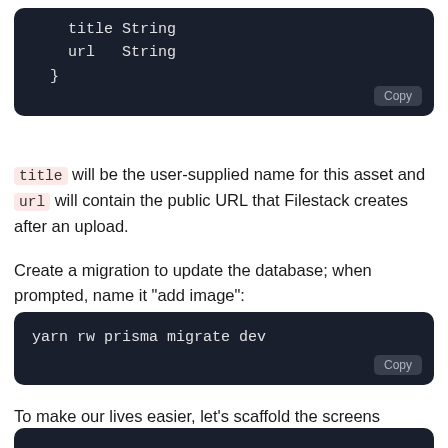[Figure (screenshot): Dark code block showing: title String / url   String / }]
title will be the user-supplied name for this asset and url will contain the public URL that Filestack creates after an upload.
Create a migration to update the database; when prompted, name it "add image":
[Figure (screenshot): Dark code block showing: yarn rw prisma migrate dev]
To make our lives easier, let's scaffold the screens necessary to create/update/delete an image, then we'll worry about adding the uploader:
[Figure (screenshot): Partial dark code block (cut off at bottom)]